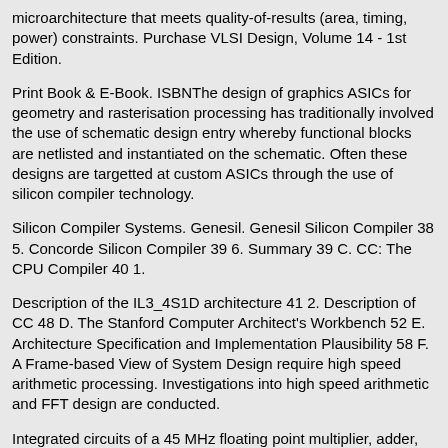microarchitecture that meets quality-of-results (area, timing, power) constraints. Purchase VLSI Design, Volume 14 - 1st Edition.
Print Book & E-Book. ISBNThe design of graphics ASICs for geometry and rasterisation processing has traditionally involved the use of schematic design entry whereby functional blocks are netlisted and instantiated on the schematic. Often these designs are targetted at custom ASICs through the use of silicon compiler technology.
Silicon Compiler Systems. Genesil. Genesil Silicon Compiler 38 5. Concorde Silicon Compiler 39 6. Summary 39 C. CC: The CPU Compiler 40 1.
Description of the IL3_4S1D architecture 41 2. Description of CC 48 D. The Stanford Computer Architect's Workbench 52 E. Architecture Specification and Implementation Plausibility 58 F. A Frame-based View of System Design require high speed arithmetic processing. Investigations into high speed arithmetic and FFT design are conducted.
Integrated circuits of a 45 MHz floating point multiplier, adder, and rate-1/4 radix-4 FFT butterfly implemented with a bit word size, are presented using the Genesil Silicon Compiler. VLSI Design Methodologies Full Custom Design Semi Custom